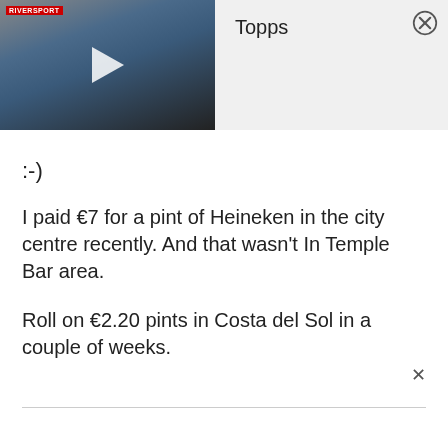[Figure (screenshot): Video thumbnail showing a man in a blue shirt being interviewed on a city street, with a play button overlay and a red RIVERSPORT logo badge in the top left]
Topps
:-)
I paid €7 for a pint of Heineken in the city centre recently. And that wasn't In Temple Bar area.
Roll on €2.20 pints in Costa del Sol in a couple of weeks.